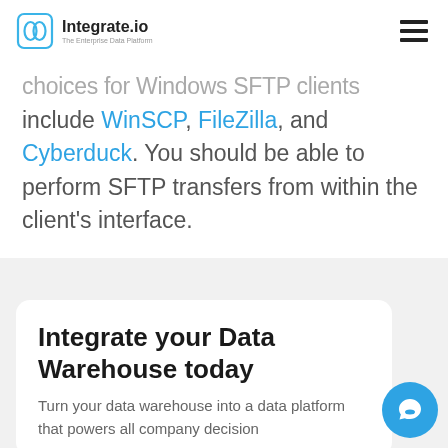Integrate.io — The Enterprise Data Platform
choices for Windows SFTP clients include WinSCP, FileZilla, and Cyberduck. You should be able to perform SFTP transfers from within the client's interface.
Integrate your Data Warehouse today
Turn your data warehouse into a data platform that powers all company decision